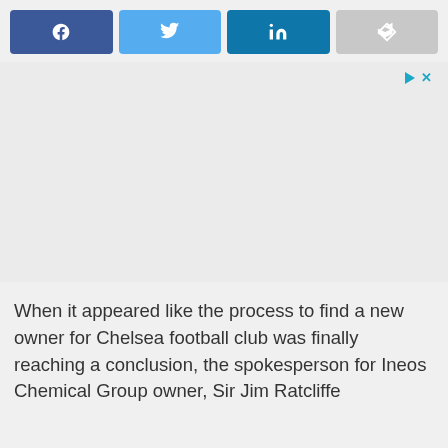[Figure (other): Social share buttons row: Facebook (dark blue), Twitter (light blue), LinkedIn (teal), and a share/forward button (gray)]
[Figure (other): Advertisement placeholder area (light gray), with small play and X icons in the top right corner]
When it appeared like the process to find a new owner for Chelsea football club was finally reaching a conclusion, the spokesperson for Ineos Chemical Group owner, Sir Jim Ratcliffe